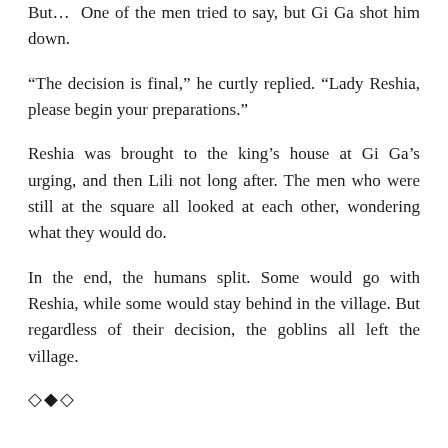But… One of the men tried to say, but Gi Ga shot him down.
“The decision is final,” he curtly replied. “Lady Reshia, please begin your preparations.”
Reshia was brought to the king’s house at Gi Ga’s urging, and then Lili not long after. The men who were still at the square all looked at each other, wondering what they would do.
In the end, the humans split. Some would go with Reshia, while some would stay behind in the village. But regardless of their decision, the goblins all left the village.
◇◆◇